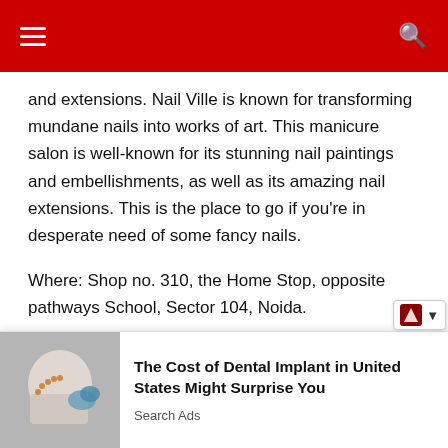navigation header with hamburger menu and search icon
and extensions. Nail Ville is known for transforming mundane nails into works of art. This manicure salon is well-known for its stunning nail paintings and embellishments, as well as its amazing nail extensions. This is the place to go if you're in desperate need of some fancy nails.

Where: Shop no. 310, the Home Stop, opposite pathways School, Sector 104, Noida.
• Tags
#Nail Rituals
# Nails By Harmeet Kaur
The Cost of Dental Implant in United States Might Surprise You
Search Ads